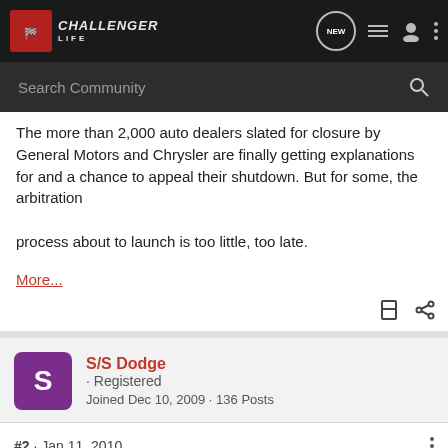Challenger Life — NEW | Search Community
The more than 2,000 auto dealers slated for closure by General Motors and Chrysler are finally getting explanations for and a chance to appeal their shutdown. But for some, the arbitration process about to launch is too little, too late.
More...
S/S Dodge · Registered
Joined Dec 10, 2009 · 136 Posts
#2 · Jan 11, 2010